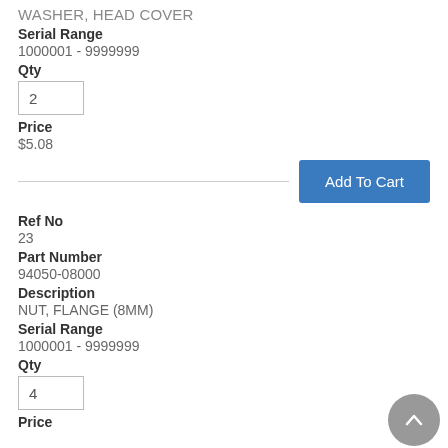WASHER, HEAD COVER
Serial Range
1000001 - 9999999
Qty
2
Price
$5.08
Add To Cart
Ref No
23
Part Number
94050-08000
Description
NUT, FLANGE (8MM)
Serial Range
1000001 - 9999999
Qty
4
Price